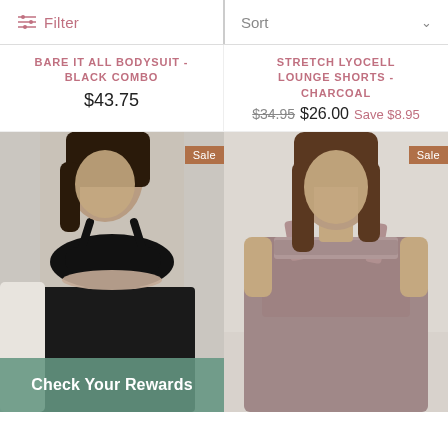Filter
Sort
BARE IT ALL BODYSUIT - BLACK COMBO
$43.75
STRETCH LYOCELL LOUNGE SHORTS - CHARCOAL
$34.95 $26.00 Save $8.95
[Figure (photo): Woman wearing a black sports bra and black leggings, standing against a light background. Sale badge in upper right corner.]
Check Your Rewards
[Figure (photo): Woman wearing a mauve/dusty rose square-neck short dress with tie shoulders, standing against a light background. Sale badge in upper right corner.]